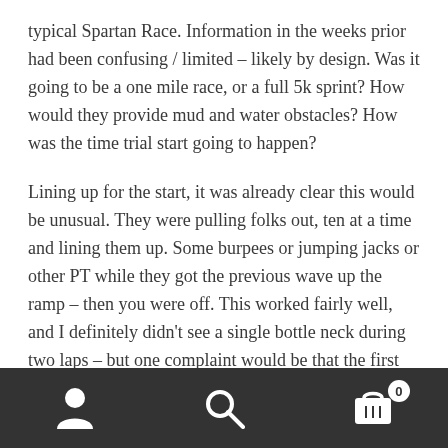typical Spartan Race. Information in the weeks prior had been confusing / limited – likely by design. Was it going to be a one mile race, or a full 5k sprint? How would they provide mud and water obstacles? How was the time trial start going to happen?
Lining up for the start, it was already clear this would be unusual. They were pulling folks out, ten at a time and lining them up. Some burpees or jumping jacks or other PT while they got the previous wave up the ramp – then you were off. This worked fairly well, and I definitely didn't see a single bottle neck during two laps – but one complaint would be that the first obstacle – a ramp up with some low ropes to go under – the starting MC had folks at different times of day doing different things
Navigation bar with user, search, and cart icons